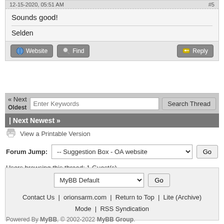12-15-2020, 05:51 AM   #5
Sounds good!
Selden
Website   Find   Reply
« Next  Enter Keywords  Search Thread
Oldest
| Next Newest »
View a Printable Version
Forum Jump:  -- Suggestion Box - OA website  Go
Users browsing this thread: 1 Guest(s)
MyBB Default  Go
Contact Us  |  orionsarm.com  |  Return to Top  |  Lite (Archive) Mode  |  RSS Syndication
Powered By MyBB, © 2002-2022 MyBB Group.